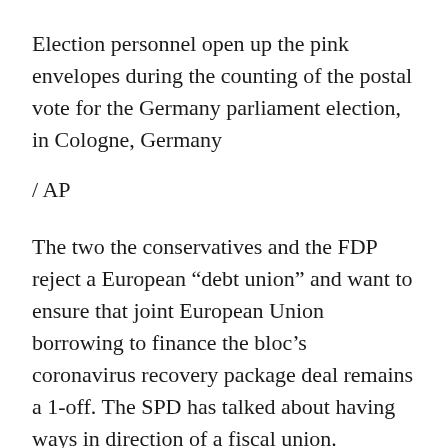Election personnel open up the pink envelopes during the counting of the postal vote for the Germany parliament election, in Cologne, Germany
/ AP
The two the conservatives and the FDP reject a European “debt union” and want to ensure that joint European Union borrowing to finance the bloc’s coronavirus recovery package deal remains a 1-off. The SPD has talked about having ways in direction of a fiscal union.